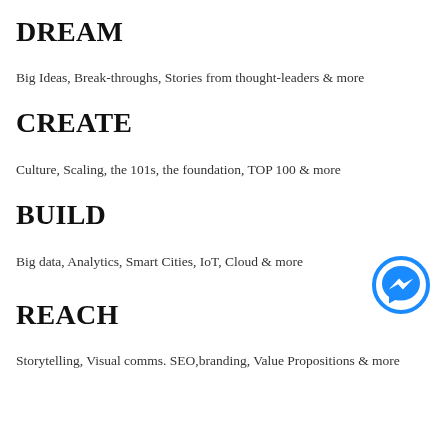DREAM
Big Ideas, Break-throughs, Stories from thought-leaders & more
CREATE
Culture, Scaling, the 101s, the foundation, TOP 100 & more
BUILD
Big data, Analytics, Smart Cities, IoT, Cloud & more
[Figure (logo): Facebook Messenger icon — blue circle with white lightning bolt messenger symbol]
REACH
Storytelling, Visual comms. SEO,branding, Value Propositions & more